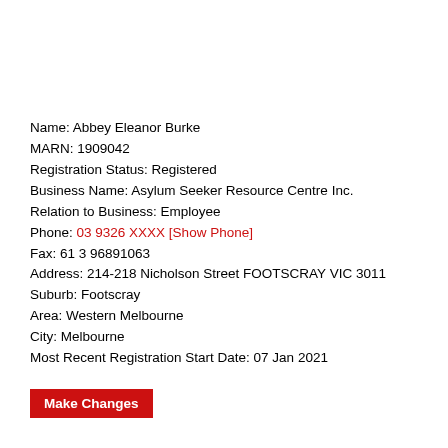Name: Abbey Eleanor Burke
MARN: 1909042
Registration Status: Registered
Business Name: Asylum Seeker Resource Centre Inc.
Relation to Business: Employee
Phone: 03 9326 XXXX [Show Phone]
Fax: 61 3 96891063
Address: 214-218 Nicholson Street FOOTSCRAY VIC 3011
Suburb: Footscray
Area: Western Melbourne
City: Melbourne
Most Recent Registration Start Date: 07 Jan 2021
Make Changes